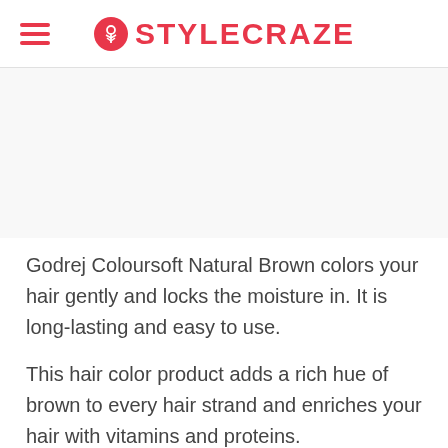STYLECRAZE
[Figure (photo): White/blank image area placeholder for product photo]
Godrej Coloursoft Natural Brown colors your hair gently and locks the moisture in. It is long-lasting and easy to use.
This hair color product adds a rich hue of brown to every hair strand and enriches your hair with vitamins and proteins.